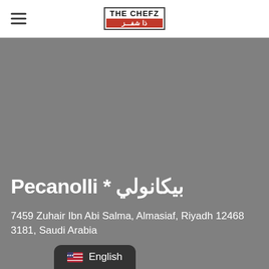THE CHEFZ
[Figure (screenshot): Gray hero/banner image background for restaurant listing]
Pecanolli * بيكانولي
7459 Zuhair Ibn Abi Salma, Almasiaf, Riyadh 12468 3181, Saudi Arabia
English